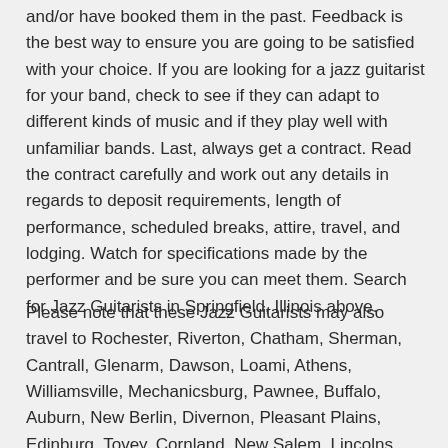and/or have booked them in the past. Feedback is the best way to ensure you are going to be satisfied with your choice. If you are looking for a jazz guitarist for your band, check to see if they can adapt to different kinds of music and if they play well with unfamiliar bands. Last, always get a contract. Read the contract carefully and work out any details in regards to deposit requirements, length of performance, scheduled breaks, attire, travel, and lodging. Watch for specifications made by the performer and be sure you can meet them. Search for Jazz Guitarists in Springfield, Illinois above.
Please note that these Jazz Guitarists may also travel to Rochester, Riverton, Chatham, Sherman, Cantrall, Glenarm, Dawson, Loami, Athens, Williamsville, Mechanicsburg, Pawnee, Buffalo, Auburn, New Berlin, Divernon, Pleasant Plains, Edinburg, Tovey, Cornland, New Salem, Lincolns New Salem, Lincoln's New Salem, Bulpitt, Thayer, Kincaid, Elkhart, Tallula, Petersburg, and Lowder.